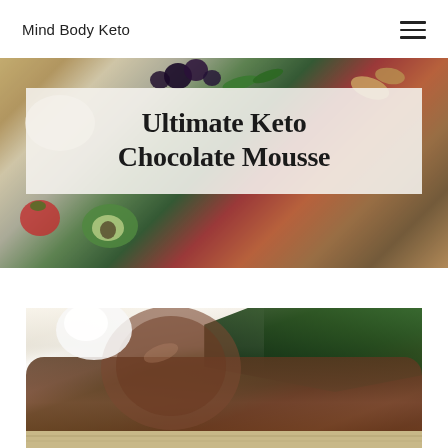Mind Body Keto
[Figure (photo): Hero banner with colorful keto food items including berries, avocado, peppers, strawberries, and almonds on a white plate background]
Ultimate Keto Chocolate Mousse
[Figure (photo): A glass jar of chocolate mousse, with whipped cream and green plant/herb leaves on a wooden mat background]